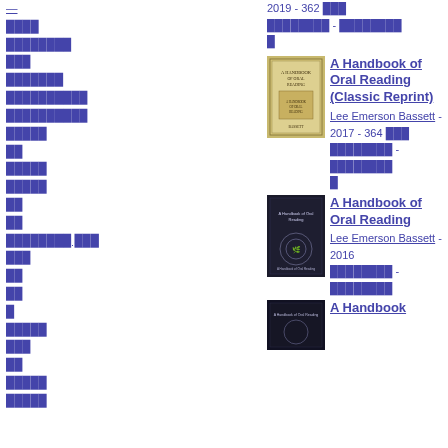—
████
████████
███
███████
██████████
██████████
█████
██
█████
█████
██
██
████████ ███
███
██
██
█
█████
███
██
█████
█████
2019 - 362 ███ ████████ - ████████ █
[Figure (photo): Book cover of A Handbook of Oral Reading (Classic Reprint) - yellow/gold colored cover]
A Handbook of Oral Reading (Classic Reprint) Lee Emerson Bassett - 2017 - 364 ███ ████████ - ████████ █
[Figure (photo): Book cover of A Handbook of Oral Reading - dark navy/black cover with laurel wreath]
A Handbook of Oral Reading Lee Emerson Bassett - 2016 ████████ - ████████
[Figure (photo): Book cover of A Handbook of Oral Reading - dark cover, partial view at bottom of page]
A Handbook